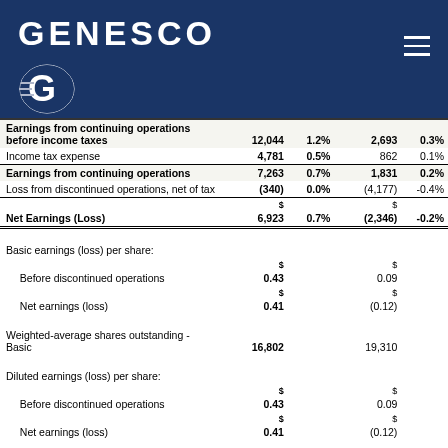[Figure (logo): Genesco logo with blue background, white GENESCO text and G circle logo]
|  | Col1 | Col1% | Col2 | Col2% |
| --- | --- | --- | --- | --- |
| Earnings from continuing operations before income taxes | 12,044 | 1.2% | 2,693 | 0.3% |
| Income tax expense | 4,781 | 0.5% | 862 | 0.1% |
| Earnings from continuing operations | 7,263 | 0.7% | 1,831 | 0.2% |
| Loss from discontinued operations, net of tax | (340) | 0.0% | (4,177) | -0.4% |
| Net Earnings (Loss) | $ 6,923 | 0.7% | $ (2,346) | -0.2% |
| Basic earnings (loss) per share: |  |  |  |  |
| Before discontinued operations | $ 0.43 |  | $ 0.09 |  |
| Net earnings (loss) | $ 0.41 |  | $ (0.12) |  |
| Weighted-average shares outstanding - Basic | 16,802 |  | 19,310 |  |
| Diluted earnings (loss) per share: |  |  |  |  |
| Before discontinued operations | $ 0.43 |  | $ 0.09 |  |
| Net earnings (loss) | $ 0.41 |  | $ (0.12) |  |